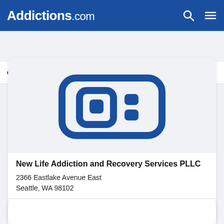Addictions.com
Call SAMHSA Helpline Today  (800) 662-HELP (4357)
[Figure (logo): New Life Addiction and Recovery Services PLLC logo — blue rounded rectangle icon with stylized quotation-mark shapes inside, on a light gray background]
New Life Addiction and Recovery Services PLLC
2366 Eastlake Avenue East
Seattle, WA 98102
Treatment
Outpatient
Insurance
Private